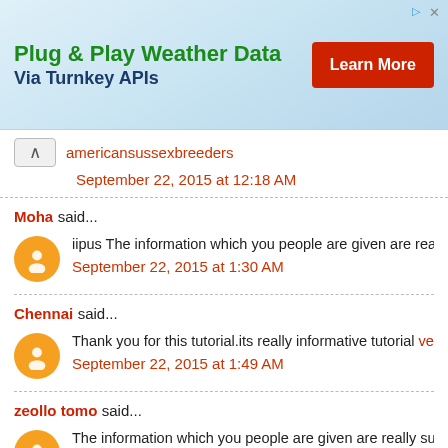[Figure (other): Advertisement banner: Plug & Play Weather Data Via Turnkey APIs with Learn More button]
americansussexbreeders
September 22, 2015 at 12:18 AM
Moha said...
iipus The information which you people are given are really su
September 22, 2015 at 1:30 AM
Chennai said...
Thank you for this tutorial.its really informative tutorial venkco
September 22, 2015 at 1:49 AM
zeollo tomo said...
The information which you people are given are really superb
fudombonosi...